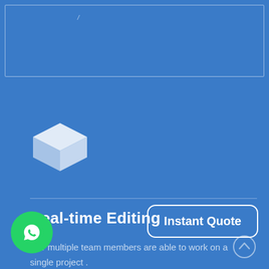[Figure (screenshot): Blue rectangular bordered box at top of page, partially visible UI element]
[Figure (illustration): White 3D box/cube icon on blue background]
Real-time Editing
Our multiple team members are able to work on a single project .
[Figure (illustration): Instant Quote button with rounded rectangle border]
[Figure (illustration): WhatsApp green circle button with phone icon, bottom left]
[Figure (illustration): Scroll-to-top arrow icon, bottom right]